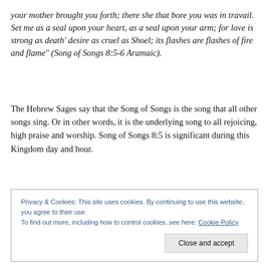your mother brought you forth; there she that bore you was in travail. Set me as a seal upon your heart, as a seal upon your arm; for love is strong as death' desire as cruel as Shoel; its flashes are flashes of fire and flame" (Song of Songs 8:5-6 Aramaic).
The Hebrew Sages say that the Song of Songs is the song that all other songs sing. Or in other words, it is the underlying song to all rejoicing, high praise and worship. Song of Songs 8:5 is significant during this Kingdom day and hour.
Privacy & Cookies: This site uses cookies. By continuing to use this website, you agree to their use. To find out more, including how to control cookies, see here: Cookie Policy